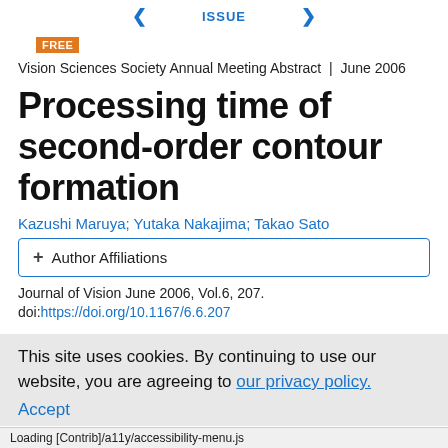◄  ISSUE  ►
FREE
Vision Sciences Society Annual Meeting Abstract | June 2006
Processing time of second-order contour formation
Kazushi Maruya; Yutaka Nakajima; Takao Sato
+ Author Affiliations
Journal of Vision June 2006, Vol.6, 207.
doi:https://doi.org/10.1167/6.6.207
This site uses cookies. By continuing to use our website, you are agreeing to our privacy policy. Accept
Loading [Contrib]/a11y/accessibility-menu.js